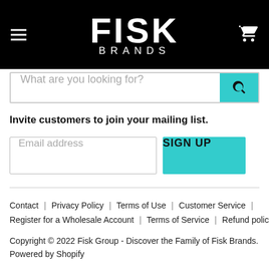[Figure (logo): Fisk Brands logo — white text on black background with hamburger menu icon on left and cart icon on right]
What are you looking for?
Invite customers to join your mailing list.
Email address
SIGN UP
Contact | Privacy Policy | Terms of Use | Customer Service | Register for a Wholesale Account | Terms of Service | Refund policy
Copyright © 2022 Fisk Group - Discover the Family of Fisk Brands.
Powered by Shopify